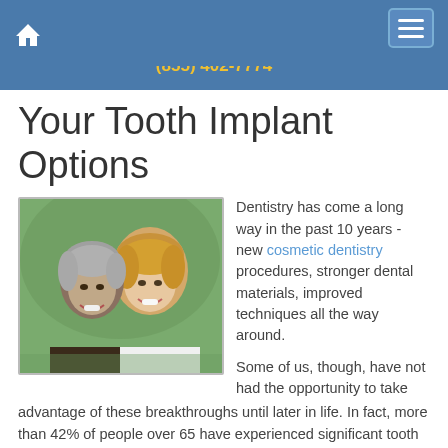Douglas A. Gedestad, DMD, Inc. | Call now for an appointment: (855) 402-7774
Your Tooth Implant Options
[Figure (photo): Smiling older couple, man with gray hair and woman with blonde hair, posed together outdoors]
Dentistry has come a long way in the past 10 years - new cosmetic dentistry procedures, stronger dental materials, improved techniques all the way around.
Some of us, though, have not had the opportunity to take advantage of these breakthroughs until later in life. In fact, more than 42% of people over 65 have experienced significant tooth loss and must resort to dentures. Now there are options: dental